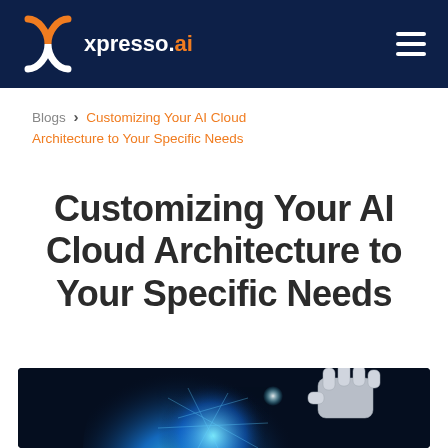xpresso.ai
Blogs > Customizing Your AI Cloud Architecture to Your Specific Needs
Customizing Your AI Cloud Architecture to Your Specific Needs
[Figure (photo): A glowing blue digital brain sphere with a robotic hand touching it against a dark background.]